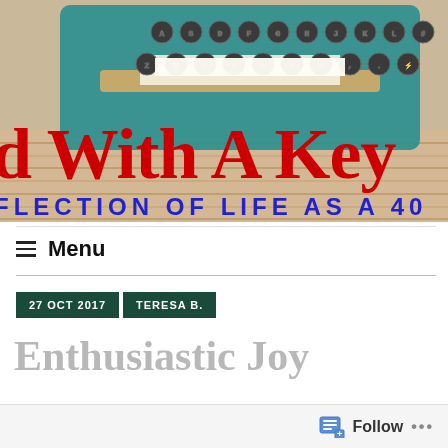[Figure (photo): Blog header image showing a teal vintage typewriter on a light wood surface with large red text 'd With A Key' and blue subtitle text 'FLECTION OF LIFE AS A 40']
≡  Menu
Enthusiastic Joy
27 OCT 2017   TERESA B.
Follow  ...